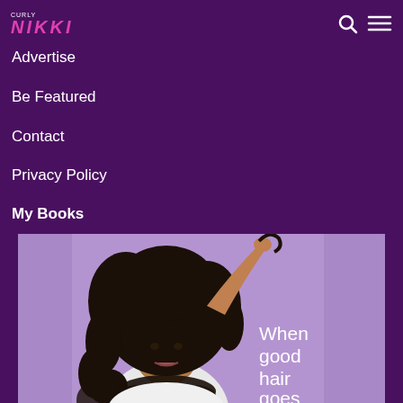CURLY NIKKI
Advertise
Be Featured
Contact
Privacy Policy
My Books
[Figure (photo): Book cover of 'When good hair goes...' showing a woman with curly natural hair against a lavender/purple background, raising one hand to her hair. The book cover shows text 'When good hair goes']